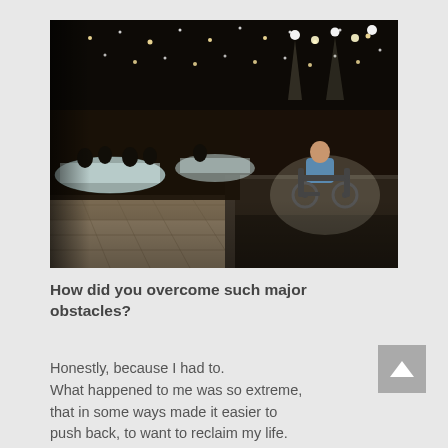[Figure (photo): A person in a wheelchair on a dark stage at a formal banquet event. The venue has string lights on the ceiling and guests seated at tables with white tablecloths in the background.]
How did you overcome such major obstacles?
Honestly, because I had to. What happened to me was so extreme, that in some ways made it easier to push back, to want to reclaim my life.